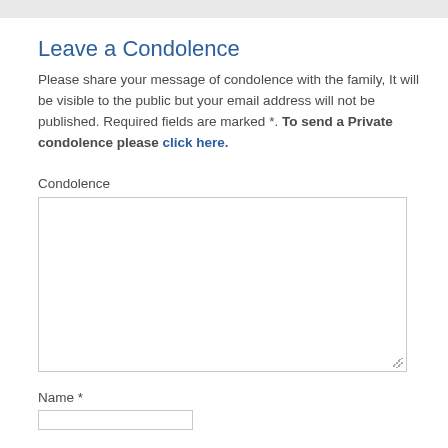Leave a Condolence
Please share your message of condolence with the family, It will be visible to the public but your email address will not be published. Required fields are marked *. To send a Private condolence please click here.
Condolence
Name *